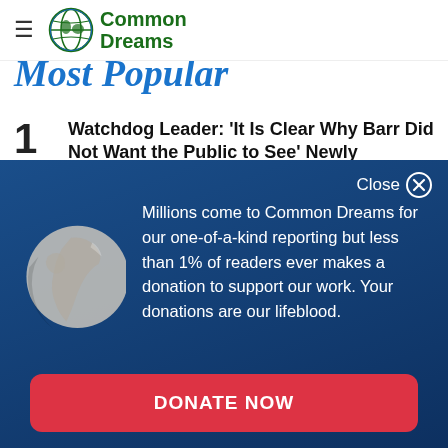Common Dreams
Most Popular
1 Watchdog Leader: 'It Is Clear Why Barr Did Not Want the Public to See' Newly Released
[Figure (logo): Common Dreams globe logo with grid pattern]
Millions come to Common Dreams for our one-of-a-kind reporting but less than 1% of readers ever makes a donation to support our work. Your donations are our lifeblood.
DONATE NOW